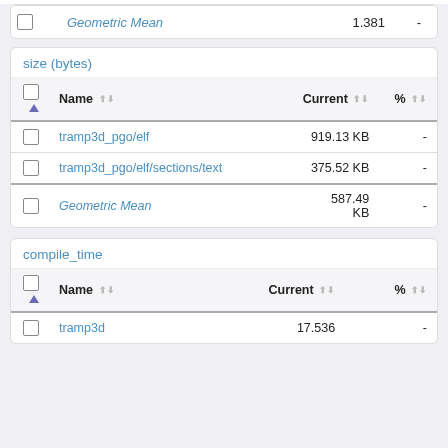|  | Name | Current | % |
| --- | --- | --- | --- |
| ☐ | Geometric Mean | 1.381 | - |
size (bytes)
|  | Name | Current | % |
| --- | --- | --- | --- |
| ☐ | tramp3d_pgo/elf | 919.13 KB | - |
| ☐ | tramp3d_pgo/elf/sections/text | 375.52 KB | - |
| ☐ | Geometric Mean | 587.49 KB | - |
compile_time
|  | Name | Current | % |
| --- | --- | --- | --- |
| ☐ | tramp3d | 17.536 | - |